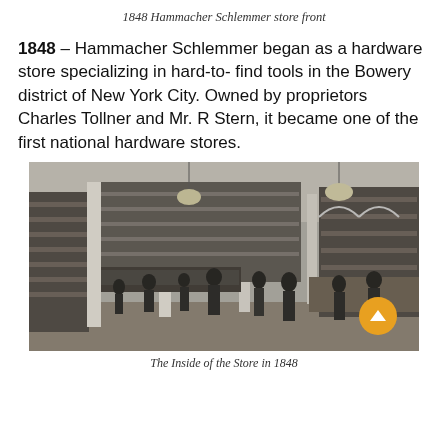1848 Hammacher Schlemmer store front
1848 – Hammacher Schlemmer began as a hardware store specializing in hard-to- find tools in the Bowery district of New York City. Owned by proprietors Charles Tollner and Mr. R Stern, it became one of the first national hardware stores.
[Figure (photo): Black and white photograph of the interior of the Hammacher Schlemmer hardware store in 1848, showing columns, shelving filled with goods, showcases, hanging lights, and customers and staff inside the store.]
The Inside of the Store in 1848